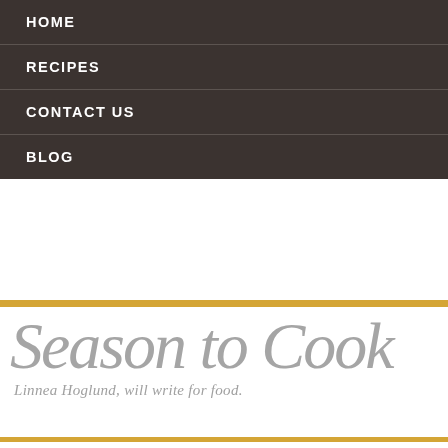HOME
RECIPES
CONTACT US
BLOG
Season to Cook
Linnea Hoglund, will write for food.
You are here: Home / Recipes / Berries / Connemara
Connemara
September 26, 2014 · by Linnea · Leave a Comment